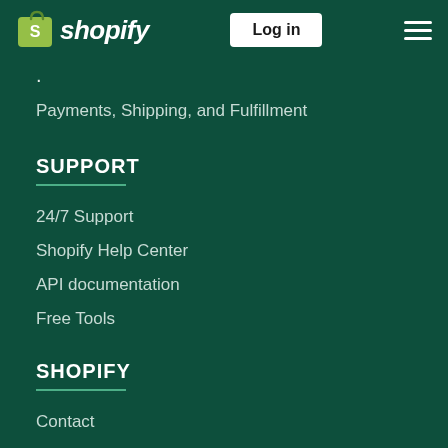Shopify header with logo, Log in button, and hamburger menu
Payments, Shipping, and Fulfillment
SUPPORT
24/7 Support
Shopify Help Center
API documentation
Free Tools
SHOPIFY
Contact
Partner Program